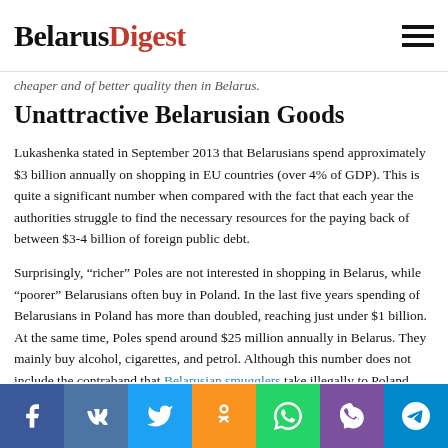BelarusDigest
cheaper and of better quality then in Belarus.
Unattractive Belarusian Goods
Lukashenka stated in September 2013 that Belarusians spend approximately $3 billion annually on shopping in EU countries (over 4% of GDP). This is quite a significant number when compared with the fact that each year the authorities struggle to find the necessary resources for the paying back of between $3-4 billion of foreign public debt.
Surprisingly, “richer” Poles are not interested in shopping in Belarus, while “poorer” Belarusians often buy in Poland. In the last five years spending of Belarusians in Poland has more than doubled, reaching just under $1 billion. At the same time, Poles spend around $25 million annually in Belarus. They mainly buy alcohol, cigarettes, and petrol. Although this number does not include the contraband that Belarusian smugglers take illegally to Poland.
[Figure (other): Social media sharing bar with icons for Facebook, VK, Twitter, Odnoklassniki, WhatsApp, Viber, and Telegram]